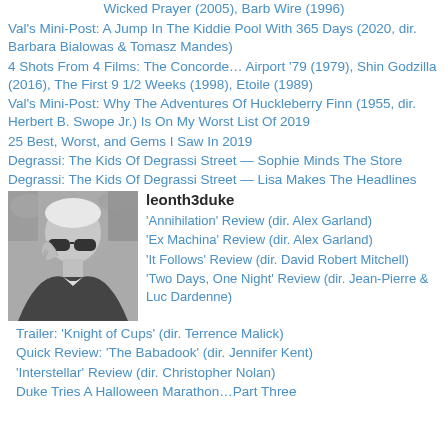Wicked Prayer (2005), Barb Wire (1996)
Val's Mini-Post: A Jump In The Kiddie Pool With 365 Days (2020, dir. Barbara Bialowas & Tomasz Mandes)
4 Shots From 4 Films: The Concorde… Airport '79 (1979), Shin Godzilla (2016), The First 9 1/2 Weeks (1998), Etoile (1989)
Val's Mini-Post: Why The Adventures Of Huckleberry Finn (1955, dir. Herbert B. Swope Jr.) Is On My Worst List Of 2019
25 Best, Worst, and Gems I Saw In 2019
Degrassi: The Kids Of Degrassi Street — Sophie Minds The Store
Degrassi: The Kids Of Degrassi Street — Lisa Makes The Headlines
[Figure (photo): Black and white photo of a man wearing sunglasses, looking downward, with hand raised near his face]
leonth3duke
'Annihilation' Review (dir. Alex Garland)
'Ex Machina' Review (dir. Alex Garland)
'It Follows' Review (dir. David Robert Mitchell)
'Two Days, One Night' Review (dir. Jean-Pierre & Luc Dardenne)
Trailer: 'Knight of Cups' (dir. Terrence Malick)
Quick Review: 'The Babadook' (dir. Jennifer Kent)
'Interstellar' Review (dir. Christopher Nolan)
Duke Tries A Halloween Marathon…Part Three